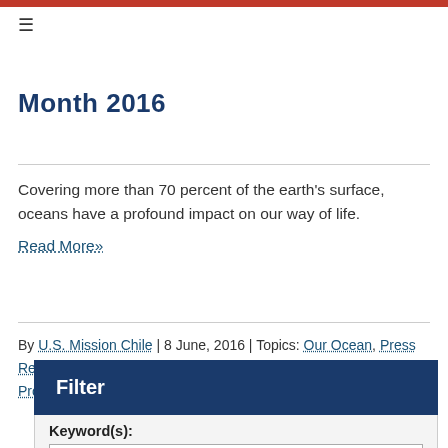≡
Month 2016
Covering more than 70 percent of the earth's surface, oceans have a profound impact on our way of life. Read More»
By U.S. Mission Chile | 8 June, 2016 | Topics: Our Ocean, Press Releases | Tags: Barack Obama, Our Ocean, Presidential Proclamation
Filter
Keyword(s):